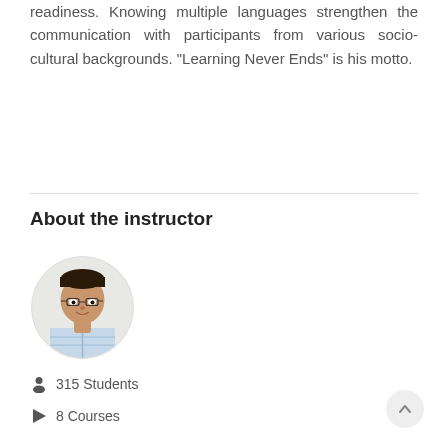readiness. Knowing multiple languages strengthen the communication with participants from various socio-cultural backgrounds. "Learning Never Ends" is his motto.
About the instructor
[Figure (photo): Circular profile photo of a young man wearing glasses and a light plaid shirt, smiling.]
315 Students
8 Courses